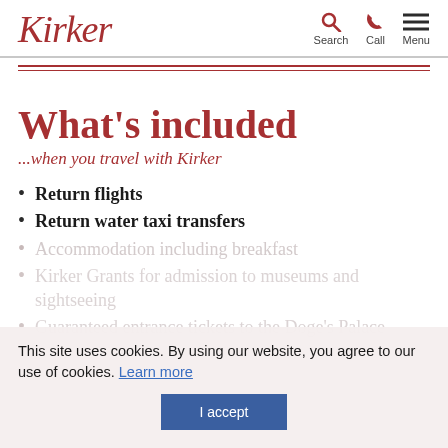Kirker — Search, Call, Menu
What's included
...when you travel with Kirker
Return flights
Return water taxi transfers
Accommodation including breakfast
Kirker Grants for admission to museums and sightseeing
Guaranteed entrance tickets to the Doge's Palace
This site uses cookies. By using our website, you agree to our use of cookies. Learn more
I accept